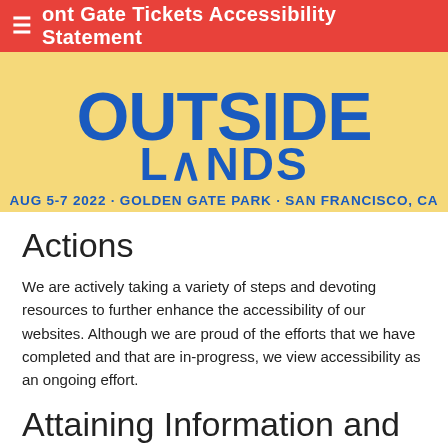ont Gate Tickets Accessibility Statement
[Figure (logo): Outside Lands music festival logo banner with text 'OUTSIDE LANDS' in large blue bold letters on yellow background, below reads 'AUG 5-7 2022 · GOLDEN GATE PARK · SAN FRANCISCO, CA']
Actions
We are actively taking a variety of steps and devoting resources to further enhance the accessibility of our websites. Although we are proud of the efforts that we have completed and that are in-progress, we view accessibility as an ongoing effort.
Attaining Information and Customer Service
If you are having difficulty on the site and need assistance...